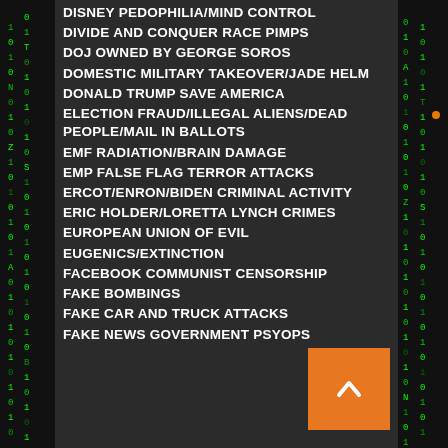DISNEY PEDOPHILIA/MIND CONTROL
DIVIDE AND CONQUER RACE PIMPS
DOJ OWNED BY GEORGE SOROS
DOMESTIC MILITARY TAKEOVER/JADE HELM
DONALD TRUMP SAVE AMERICA
ELECTION FRAUD/ILLEGAL ALIENS/DEAD PEOPLE/MAIL IN BALLOTS
EMF RADIATION/BRAIN DAMAGE
EMP FALSE FLAG TERROR ATTACKS
ERCOT/ENRON/BIDEN CRIMINAL ACTIVITY
ERIC HOLDER/LORETTA LYNCH CRIMES
EUROPEAN UNION OF EVIL
EUGENICS/EXTINCTION
FACEBOOK COMMUNIST CENSORSHIP
FAKE BOMBINGS
FAKE CAR AND TRUCK ATTACKS
FAKE NEWS GOVERNMENT PSYOPS